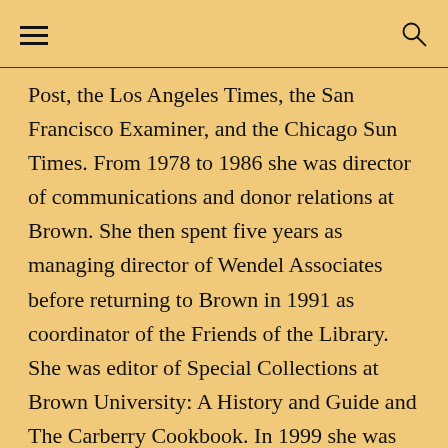Post, the Los Angeles Times, the San Francisco Examiner, and the Chicago Sun Times. From 1978 to 1986 she was director of communications and donor relations at Brown. She then spent five years as managing director of Wendel Associates before returning to Brown in 1991 as coordinator of the Friends of the Library. She was editor of Special Collections at Brown University: A History and Guide and The Carberry Cookbook. In 1999 she was the recipient of Brown’s William Williams Award for distinguished contributions to the Brown University Library. She was a longtime board member of the Eastern Shore Land Conservancy and served two terms as president. In 1990 she spent time in Argentina weighing, measuring, and banding penguins as part of a research project of the New York Zoological Society. She was a